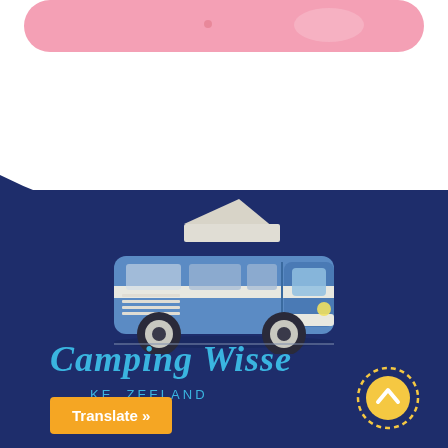[Figure (illustration): Pink rounded banner at top of page with lighter pink blob and dot accent]
[Figure (illustration): Blue retro camper van (VW-style) with pop-up roof tent, illustrated on a dark navy background with wave transition from white section above]
Camping Wisse
KE, ZEELAND
Translate »
[Figure (illustration): Gold/yellow circle scroll-to-top button with upward chevron, surrounded by dashed circular border]